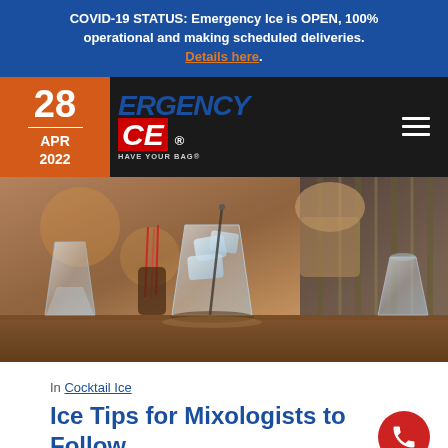COVID-19 STATUS: Emergency Ice is OPEN, 100% operational and making scheduled deliveries. Details here.
28 APR 2022
[Figure (logo): Emergency Ice logo with red and blue branding and tagline 'HAVE YOUR BAG']
[Figure (photo): Bar scene with cocktail glasses filled with ice on a wooden bar counter, a bartender in the background stirring a drink]
In Cocktail Ice
Ice Tips for Mixologists to Follow